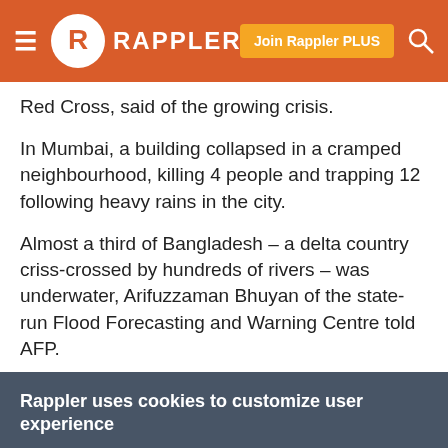RAPPLER
Red Cross, said of the growing crisis.
In Mumbai, a building collapsed in a cramped neighbourhood, killing 4 people and trapping 12 following heavy rains in the city.
Almost a third of Bangladesh – a delta country criss-crossed by hundreds of rivers – was underwater, Arifuzzaman Bhuyan of the state-run Flood Forecasting and Warning Centre told AFP.
Rappler uses cookies to customize user experience
By continued use, you agree to our privacy policy and accept our use of such cookies. For further information, click find out more
I ACCEPT